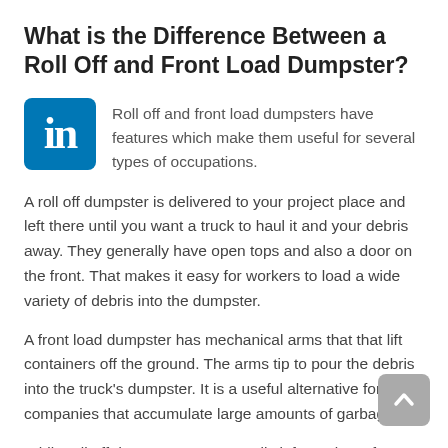What is the Difference Between a Roll Off and Front Load Dumpster?
[Figure (logo): LinkedIn logo — white 'in' text on blue rounded square background]
Roll off and front load dumpsters have features which make them useful for several types of occupations.
A roll off dumpster is delivered to your project place and left there until you want a truck to haul it and your debris away. They generally have open tops and also a door on the front. That makes it easy for workers to load a wide variety of debris into the dumpster.
A front load dumpster has mechanical arms that that lift containers off the ground. The arms tip to pour the debris into the truck's dumpster. It is a useful alternative for companies that accumulate large amounts of garbage.
While roll off dumpsters are normally left on place, front load